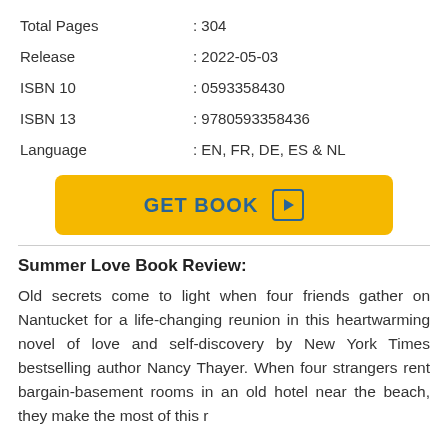| Total Pages | : 304 |
| Release | : 2022-05-03 |
| ISBN 10 | : 0593358430 |
| ISBN 13 | : 9780593358436 |
| Language | : EN, FR, DE, ES & NL |
[Figure (other): Yellow GET BOOK button with play icon]
Summer Love Book Review:
Old secrets come to light when four friends gather on Nantucket for a life-changing reunion in this heartwarming novel of love and self-discovery by New York Times bestselling author Nancy Thayer. When four strangers rent bargain-basement rooms in an old hotel near the beach, they make the most of this r...